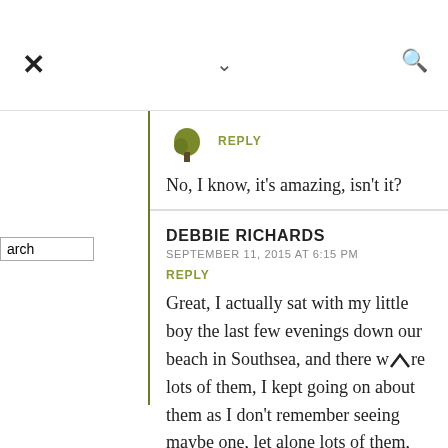[Figure (screenshot): Website interface with close (X) button, dropdown chevron, and search icon in top bar]
REPLY
No, I know, it's amazing, isn't it?
DEBBIE RICHARDS
SEPTEMBER 11, 2015 AT 6:15 PM
REPLY
Great, I actually sat with my little boy the last few evenings down our beach in Southsea, and there were lots of them, I kept going on about them as I don't remember seeing maybe one, let alone lots of them,